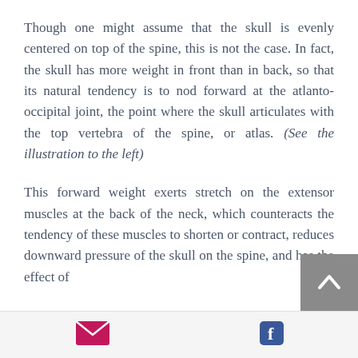Though one might assume that the skull is evenly centered on top of the spine, this is not the case. In fact, the skull has more weight in front than in back, so that its natural tendency is to nod forward at the atlanto-occipital joint, the point where the skull articulates with the top vertebra of the spine, or atlas. (See the illustration to the left)
This forward weight exerts stretch on the extensor muscles at the back of the neck, which counteracts the tendency of these muscles to shorten or contract, reduces downward pressure of the skull on the spine, and has the effect of